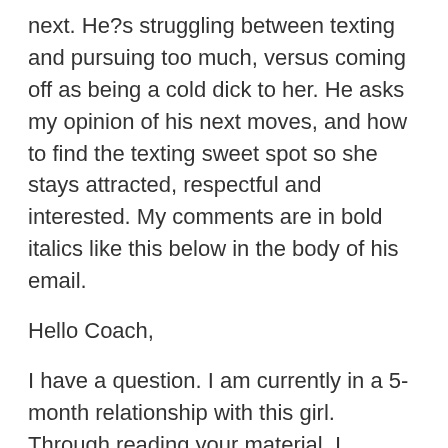next. He?s struggling between texting and pursuing too much, versus coming off as being a cold dick to her. He asks my opinion of his next moves, and how to find the texting sweet spot so she stays attracted, respectful and interested. My comments are in bold italics like this below in the body of his email.
Hello Coach,
I have a question. I am currently in a 5-month relationship with this girl. Through reading your material, I understand that I have been smothering her too much recently, and she?s push me away and is trying to treat me as a ? friend.?
She?s moving you over to friend zone...